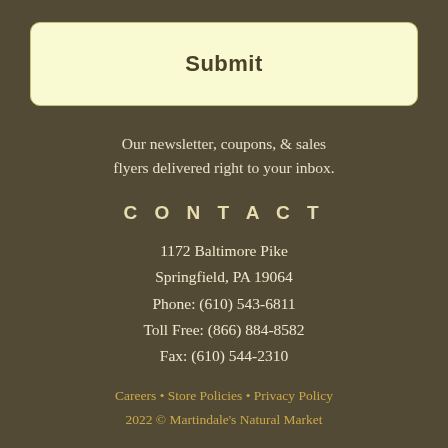Submit
Our newsletter, coupons, & sales flyers delivered right to your inbox.
CONTACT
1172 Baltimore Pike
Springfield, PA 19064
Phone: (610) 543-6811
Toll Free: (866) 884-8582
Fax: (610) 544-2310
Careers • Store Policies • Privacy Policy
2022 © Martindale's Natural Market